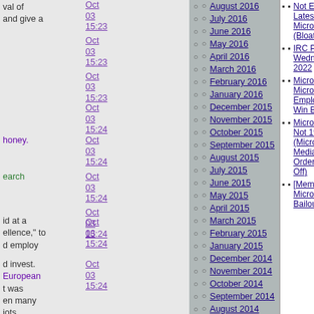val of and give a
Oct 03 15:23
Oct 03 15:23
Oct 03 15:23
Oct 03 15:24
honey.
Oct 03 15:24
earch
Oct 03 15:24
Oct 03 15:24
id at a ellence, to d employ
Oct 03 15:24
d invest. European t was en many iots.
Oct 03 15:24
August 2016
July 2016
June 2016
May 2016
April 2016
March 2016
February 2016
January 2016
December 2015
November 2015
October 2015
September 2015
August 2015
July 2015
June 2015
May 2015
April 2015
March 2015
February 2015
January 2015
December 2014
November 2014
October 2014
September 2014
August 2014
July 2014
June 2014
Not Everyone B... Latest Laptop W... Microsoft Windo... (Bloatware)
IRC Proceeding... Wednesday, Au... 2022
Microsoft Death... Microsoft Fires ... Employees "Wo... Win Back Custo...
Microsoft Firing... Not 1%, of Staff... (Microsoft Lies t... Media, Figures ... Order of Magnit... Off)
[Meme] The Pre... Microsoft: Bailo... Bailouts, Bailou...